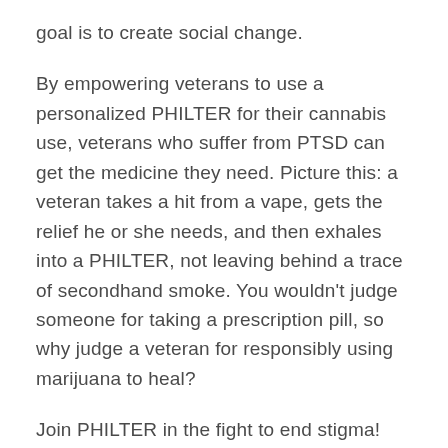goal is to create social change.
By empowering veterans to use a personalized PHILTER for their cannabis use, veterans who suffer from PTSD can get the medicine they need. Picture this: a veteran takes a hit from a vape, gets the relief he or she needs, and then exhales into a PHILTER, not leaving behind a trace of secondhand smoke. You wouldn’t judge someone for taking a prescription pill, so why judge a veteran for responsibly using marijuana to heal?
Join PHILTER in the fight to end stigma! Learn more, here.